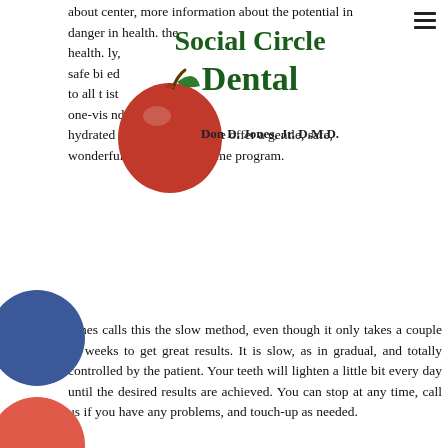[Figure (logo): Social Circle Dental logo with apple graphic and text 'Social Circle Dental, Don D. Jones, Jr. D.M.D.']
about center, more information about the potential danger in health. ly, safe bi ed to all t ist one-vis nd hydrated enamel. Instead, we offer a gentle, safe, wonderfully effective at-home program.
Jones calls this the slow method, even though it only takes a couple of weeks to get great results. It is slow, as in gradual, and totally controlled by the patient. Your teeth will lighten a little bit every day until the desired results are achieved. You can stop at any time, call us if you have any problems, and touch-up as needed.